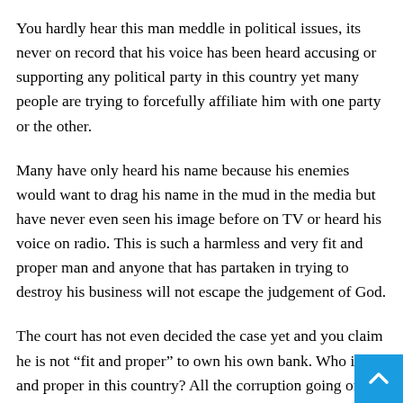You hardly hear this man meddle in political issues, its never on record that his voice has been heard accusing or supporting any political party in this country yet many people are trying to forcefully affiliate him with one party or the other.
Many have only heard his name because his enemies would want to drag his name in the mud in the media but have never even seen his image before on TV or heard his voice on radio. This is such a harmless and very fit and proper man and anyone that has partaken in trying to destroy his business will not escape the judgement of God.
The court has not even decided the case yet and you claim he is not “fit and proper” to own his own bank. Who is fit and proper in this country? All the corruption going on in the state institutions all over Ghana involving government officials and people wearing party colours, do you see this man involved or